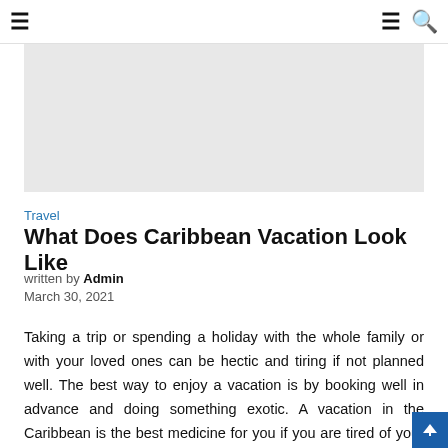≡  ≡ 🔍
[Figure (photo): Light gray placeholder hero image for a Caribbean vacation article]
Travel
What Does Caribbean Vacation Look Like
written by Admin
March 30, 2021
Taking a trip or spending a holiday with the whole family or with your loved ones can be hectic and tiring if not planned well. The best way to enjoy a vacation is by booking well in advance and doing something exotic. A vacation in the Caribbean is the best medicine for you if you are tired of your daily stressed out life. You can experience the serenity of